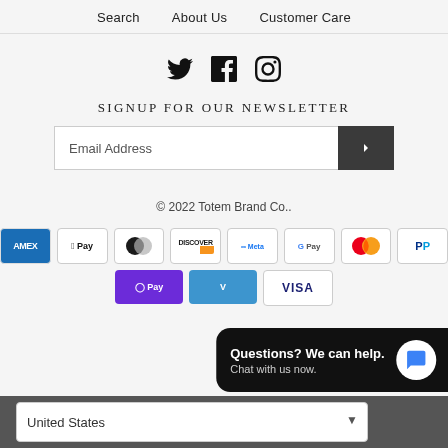Search   About Us   Customer Care
[Figure (illustration): Social media icons: Twitter bird, Facebook square, Instagram camera circle]
SIGNUP FOR OUR NEWSLETTER
Email Address [submit button with > arrow]
© 2022 Totem Brand Co..
[Figure (other): Payment method logos: Amex, Apple Pay, Diners Club, Discover, Meta Pay, Google Pay, Mastercard, PayPal, Apple Pay (OPay), Venmo, Visa]
Questions? We can help. Chat with us now.
United States